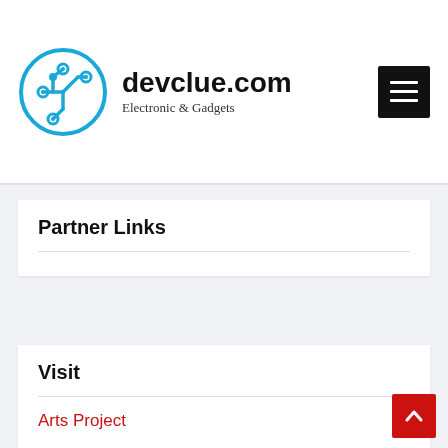devclue.com — Electronic & Gadgets
Partner Links
Visit
Arts Project